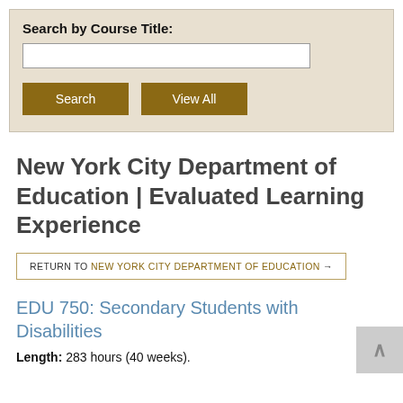Search by Course Title:
Search | View All
New York City Department of Education | Evaluated Learning Experience
RETURN TO NEW YORK CITY DEPARTMENT OF EDUCATION →
EDU 750: Secondary Students with Disabilities
Length: 283 hours (40 weeks).